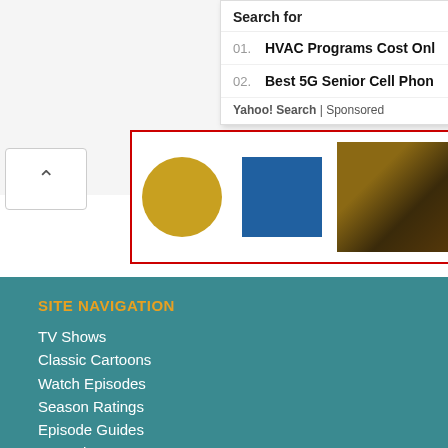[Figure (screenshot): Search results overlay showing 'Search for' header with two sponsored results: '01. HVAC Programs Cost Onl...' and '02. Best 5G Senior Cell Phon...' with Yahoo! Search | Sponsored attribution]
[Figure (photo): Image strip with red border showing product images including circular gold badges, a blue badge, a cat, and a cat food can]
SITE NAVIGATION
TV Shows
Classic Cartoons
Watch Episodes
Season Ratings
Episode Guides
Cast Bios
Schedules
Shop